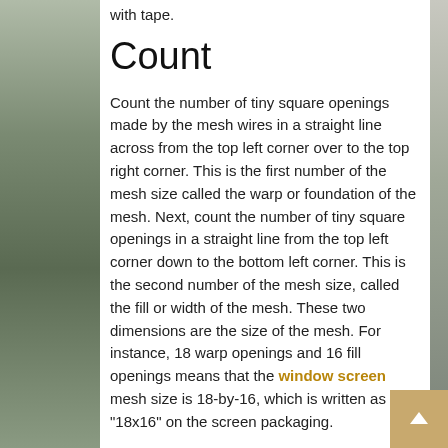with tape.
Count
Count the number of tiny square openings made by the mesh wires in a straight line across from the top left corner over to the top right corner. This is the first number of the mesh size called the warp or foundation of the mesh. Next, count the number of tiny square openings in a straight line from the top left corner down to the bottom left corner. This is the second number of the mesh size, called the fill or width of the mesh. These two dimensions are the size of the mesh. For instance, 18 warp openings and 16 fill openings means that the window screen mesh size is 18-by-16, which is written as "18x16" on the screen packaging.
Measure
The diameter of mesh size refers to the diameter or width of the wire or threads of the mesh. Use digital